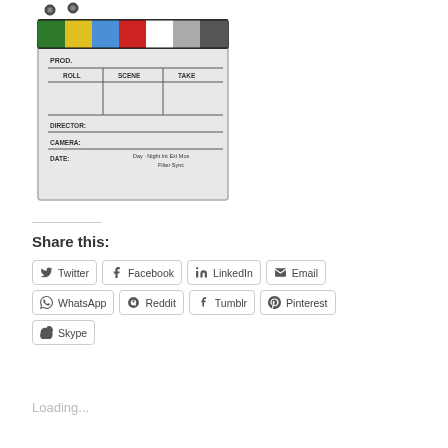[Figure (photo): A film clapperboard with colored stripes (green, yellow, blue, red, white, grey) on the top clapper arm. The board shows fields for PROD., ROLL, SCENE, TAKE, DIRECTOR, CAMERA, DATE, and options for Day/Night, Int/Ext, Mos/Sync, Filter.]
Share this:
Twitter
Facebook
LinkedIn
Email
WhatsApp
Reddit
Tumblr
Pinterest
Skype
Loading...